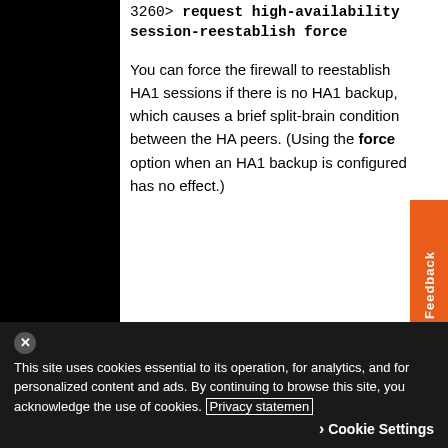3260> request high-availability session-reestablish force
You can force the firewall to reestablish HA1 sessions if there is no HA1 backup, which causes a brief split-brain condition between the HA peers. (Using the force option when an HA1 backup is configured has no effect.)
Was this information helpful?
This site uses cookies essential to its operation, for analytics, and for personalized content and ads. By continuing to browse this site, you acknowledge the use of cookies. Privacy statement